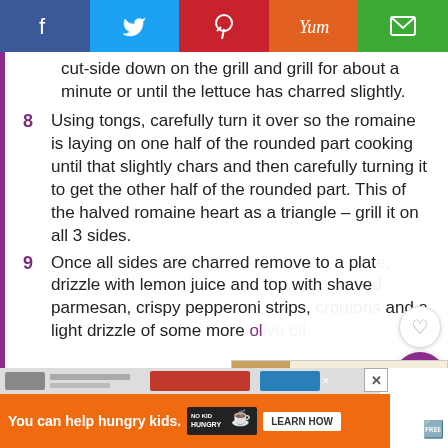[Figure (other): Social sharing bar with Facebook, Twitter, Pinterest, Yummly, and Email buttons]
cut-side down on the grill and grill for about a minute or until the lettuce has charred slightly.
8  Using tongs, carefully turn it over so the romaine is laying on one half of the rounded part cooking until that slightly chars and then carefully turning it to get the other half of the rounded part. This of the halved romaine heart as a triangle – grill it on all 3 sides.
9  Once all sides are charred remove to a plate, drizzle with lemon juice and top with shaved parmesan, crispy pepperoni strips, croutons and a light drizzle of some more olive oil...
[Figure (other): Share overlay with heart icon and purple share button showing 15 shares]
[Figure (other): What's Next panel showing Shrimp Egg Roll Thin &... with food image]
[Figure (other): Orange No Kid Hungry advertisement banner with Learn How button]